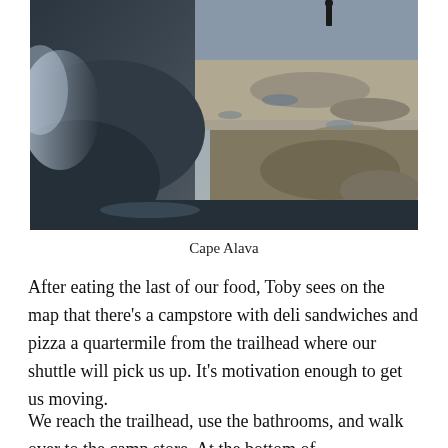[Figure (photo): Rocky coastline landscape with a person standing on rocks in the distance, water and wet rocks in the foreground with mist or spray visible on the left side]
Cape Alava
After eating the last of our food, Toby sees on the map that there’s a campstore with deli sandwiches and pizza a quartermile from the trailhead where our shuttle will pick us up. It’s motivation enough to get us moving.
We reach the trailhead, use the bathrooms, and walk over to the camp store. At the bottom of